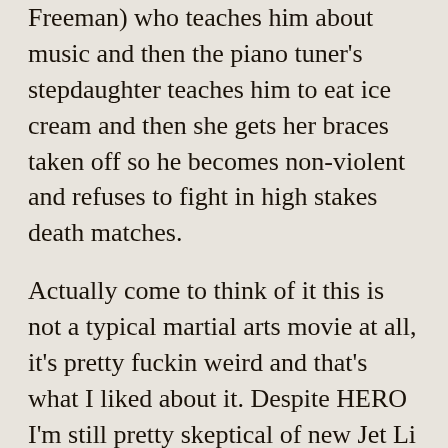Freeman) who teaches him about music and then the piano tuner's stepdaughter teaches him to eat ice cream and then she gets her braces taken off so he becomes non-violent and refuses to fight in high stakes death matches.
Actually come to think of it this is not a typical martial arts movie at all, it's pretty fuckin weird and that's what I liked about it. Despite HERO I'm still pretty skeptical of new Jet Li movies, especially when he's speaking the english type language. This is a good not great movie, but it's a great move for Mr. Li because he plays a distinct character, he really gets to act, he fights in a different style and he even gets to put a sincere anti-violence message in there. (read the rest of this bit…)